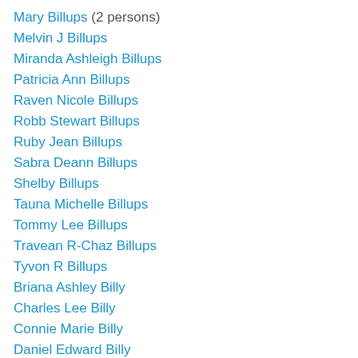Mary Billups (2 persons)
Melvin J Billups
Miranda Ashleigh Billups
Patricia Ann Billups
Raven Nicole Billups
Robb Stewart Billups
Ruby Jean Billups
Sabra Deann Billups
Shelby Billups
Tauna Michelle Billups
Tommy Lee Billups
Travean R-Chaz Billups
Tyvon R Billups
Briana Ashley Billy
Charles Lee Billy
Connie Marie Billy
Daniel Edward Billy
Danielle Colleen Billy